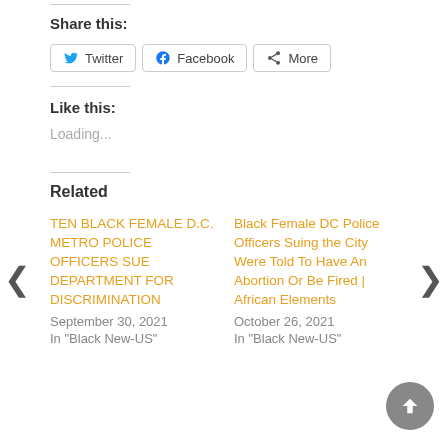Share this:
Twitter   Facebook   More
Like this:
Loading...
Related
TEN BLACK FEMALE D.C. METRO POLICE OFFICERS SUE DEPARTMENT FOR DISCRIMINATION
September 30, 2021
In "Black New-US"
Black Female DC Police Officers Suing the City Were Told To Have An Abortion Or Be Fired | African Elements
October 26, 2021
In "Black New-US"